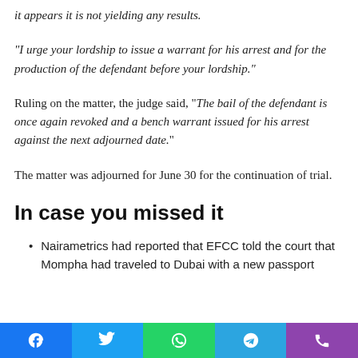it appears it is not yielding any results.
“I urge your lordship to issue a warrant for his arrest and for the production of the defendant before your lordship.”
Ruling on the matter, the judge said, “The bail of the defendant is once again revoked and a bench warrant issued for his arrest against the next adjourned date.”
The matter was adjourned for June 30 for the continuation of trial.
In case you missed it
Nairametrics had reported that EFCC told the court that Mompha had traveled to Dubai with a new passport
[Figure (infographic): Social media share buttons bar at the bottom: Facebook (blue), Twitter (light blue), WhatsApp (green), Telegram (blue), Phone/Viber (purple)]